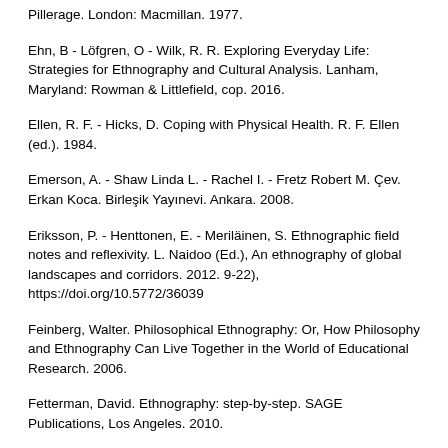Pillerage. London: Macmillan. 1977.
Ehn, B - Löfgren, O - Wilk, R. R. Exploring Everyday Life: Strategies for Ethnography and Cultural Analysis. Lanham, Maryland: Rowman & Littlefield, cop. 2016.
Ellen, R. F. - Hicks, D. Coping with Physical Health. R. F. Ellen (ed.). 1984.
Emerson, A. - Shaw Linda L. - Rachel I. - Fretz Robert M. Çev. Erkan Koca. Birleşik Yayınevi. Ankara. 2008.
Eriksson, P. - Henttonen, E. - Meriläinen, S. Ethnographic field notes and reflexivity. L. Naidoo (Ed.), An ethnography of global landscapes and corridors. 2012. 9-22), https://doi.org/10.5772/36039
Feinberg, Walter. Philosophical Ethnography: Or, How Philosophy and Ethnography Can Live Together in the World of Educational Research. 2006.
Fetterman, David. Ethnography: step-by-step. SAGE Publications, Los Angeles. 2010.
Freilich, M. The meaning of sociocultural. In B. Bernado, ed., The ...